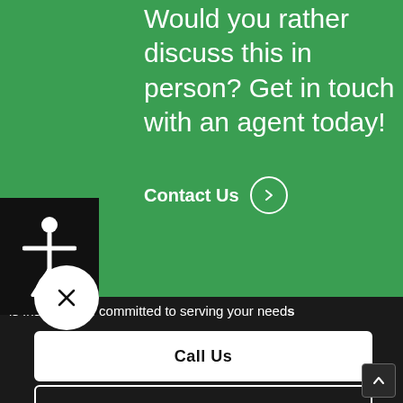Would you rather discuss this in person? Get in touch with an agent today!
Contact Us →
[Figure (illustration): Black accessibility icon on black background — human figure with outstretched arms]
[Figure (illustration): White X close button circle]
is Insurance is committed to serving your needs
Call Us
Hurricane Preparedness